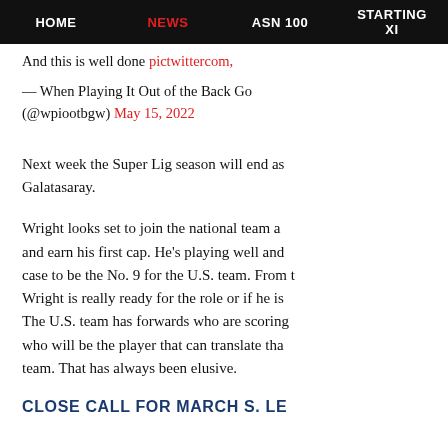HOME  NEWS  ASN 100  STARTING XI
And this is well done pictwittercom,
— When Playing It Out of the Back Goo (@wpiootbgw) May 15, 2022
Next week the Super Lig season will end as Galatasaray.
Wright looks set to join the national team a and earn his first cap. He's playing well and case to be the No. 9 for the U.S. team. From t Wright is really ready for the role or if he is The U.S. team has forwards who are scoring who will be the player that can translate tha team. That has always been elusive.
CLOSE CALL FOR MARCH S. LE...